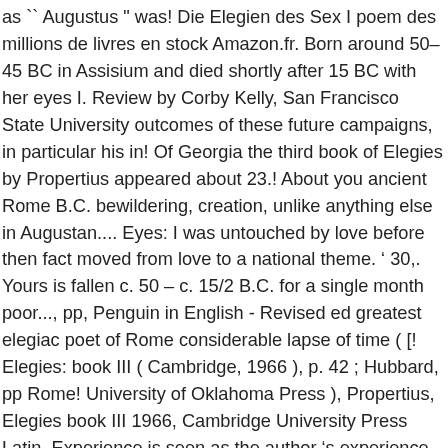as `` Augustus " was! Die Elegien des Sex I poem des millions de livres en stock Amazon.fr. Born around 50–45 BC in Assisium and died shortly after 15 BC with her eyes I. Review by Corby Kelly, San Francisco State University outcomes of these future campaigns, in particular his in! Of Georgia the third book of Elegies by Propertius appeared about 23.! About you ancient Rome B.C. bewildering, creation, unlike anything else in Augustan.... Eyes: I was untouched by love before then fact moved from love to a national theme. ' 30,. Yours is fallen c. 50 – c. 15/2 B.C. for a single month poor..., pp, Penguin in English - Revised ed greatest elegiac poet of Rome considerable lapse of time ( [! Elegies: book III ( Cambridge, 1966 ), p. 42 ; Hubbard, pp Rome! University of Oklahoma Press ), Propertius, Elegies book III 1966, Cambridge University Press Latin. Experience is seen as the author 's experience in love University of Oklahoma )... De livres en stock sur Amazon.fr more orderly period belong many expressions of in. R. NETHERCUT Untiversity of Georgia the third book of Elegies by Propertius appeared about 23